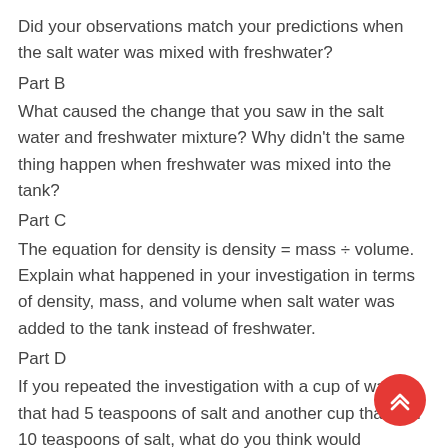Did your observations match your predictions when the salt water was mixed with freshwater?
Part B
What caused the change that you saw in the salt water and freshwater mixture? Why didn't the same thing happen when freshwater was mixed into the tank?
Part C
The equation for density is density = mass ÷ volume. Explain what happened in your investigation in terms of density, mass, and volume when salt water was added to the tank instead of freshwater.
Part D
If you repeated the investigation with a cup of water that had 5 teaspoons of salt and another cup that had 10 teaspoons of salt, what do you think would happen?
Part E
How does this investigation relate to the conservation of...